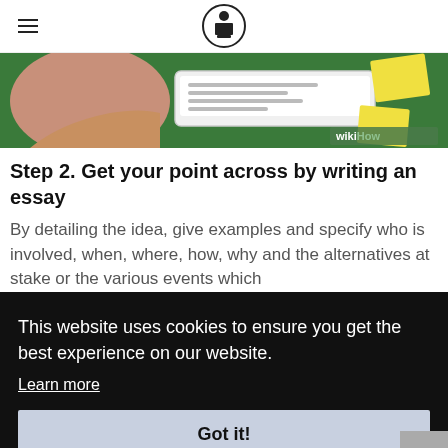wikiHow
[Figure (illustration): WikiHow illustration showing a person writing an essay on a tablet/laptop with sticky notes on a green background, watermarked with wikiHow logo]
Step 2. Get your point across by writing an essay
By detailing the idea, give examples and specify who is involved, when, where, how, why and the alternatives at stake or the various events which
This website uses cookies to ensure you get the best experience on our website.
Learn more
Got it!
biblical parables, part of a song, events in church or